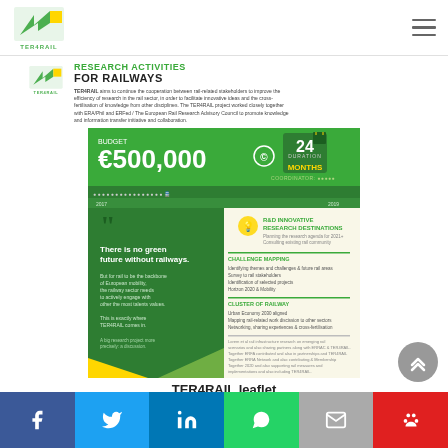TER4RAIL logo and navigation
RESEARCH ACTIVITIES FOR RAILWAYS
TER4RAIL aims to continue the cooperation between rail-related stakeholders to improve the efficiency of research in the rail sector, in order to facilitate innovative ideas and the cross fertilisation of knowledge from other disciplines. The TER4RAIL project worked closely together with ERA/Phil and ERFed / The European Rail Research Advisory Council to promote knowledge and information transfer initiative and collaboration.
[Figure (infographic): TER4RAIL leaflet infographic showing budget of €500,000, 24 months duration, and research priorities including quote 'There is no green future without railways', and sections on R&D innovative research destinations, collaboration challenges, and Urban Economy 2030 alignment.]
TER4RAIL leaflet
Social share buttons: Facebook, Twitter, LinkedIn, WhatsApp, Email, Paw